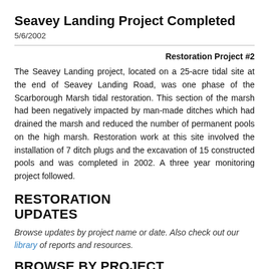Seavey Landing Project Completed
5/6/2002
Restoration Project #2
The Seavey Landing project, located on a 25-acre tidal site at the end of Seavey Landing Road, was one phase of the Scarborough Marsh tidal restoration. This section of the marsh had been negatively impacted by man-made ditches which had drained the marsh and reduced the number of permanent pools on the high marsh. Restoration work at this site involved the installation of 7 ditch plugs and the excavation of 15 constructed pools and was completed in 2002. A three year monitoring project followed.
RESTORATION UPDATES
Browse updates by project name or date. Also check out our library of reports and resources.
BROWSE BY PROJECT
All